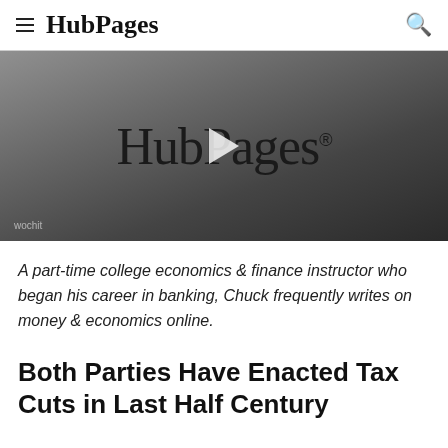HubPages
[Figure (screenshot): HubPages video thumbnail with HubPages logo in cursive script on dark gray gradient background, play button overlay, and wochit watermark in bottom left]
A part-time college economics & finance instructor who began his career in banking, Chuck frequently writes on money & economics online.
Both Parties Have Enacted Tax Cuts in Last Half Century